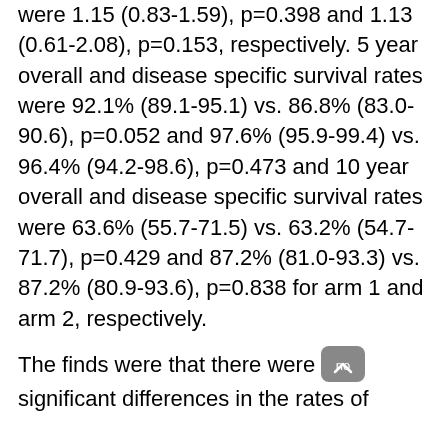were 1.15 (0.83-1.59), p=0.398 and 1.13 (0.61-2.08), p=0.153, respectively. 5 year overall and disease specific survival rates were 92.1% (89.1-95.1) vs. 86.8% (83.0-90.6), p=0.052 and 97.6% (95.9-99.4) vs. 96.4% (94.2-98.6), p=0.473 and 10 year overall and disease specific survival rates were 63.6% (55.7-71.5) vs. 63.2% (54.7-71.7), p=0.429 and 87.2% (81.0-93.3) vs. 87.2% (80.9-93.6), p=0.838 for arm 1 and arm 2, respectively.
The finds were that there were no significant differences in the rates of